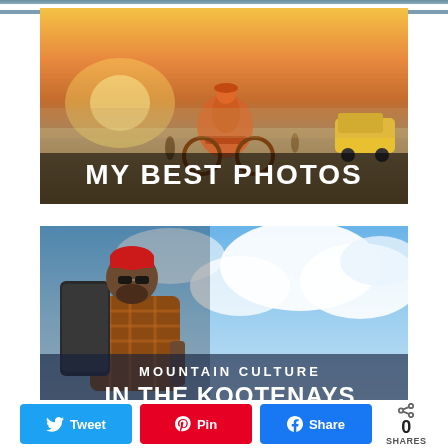[Figure (photo): Cropped top image strip (partial, mostly cut off)]
[Figure (photo): Person on bicycle at desert/Burning Man event with text overlay 'MY BEST PHOTOS']
[Figure (photo): Person with backpack against cloudy sky with text overlay 'MOUNTAIN CULTURE IN THE KOOTENAYS']
0 SHARES
Tweet | Pin | Share